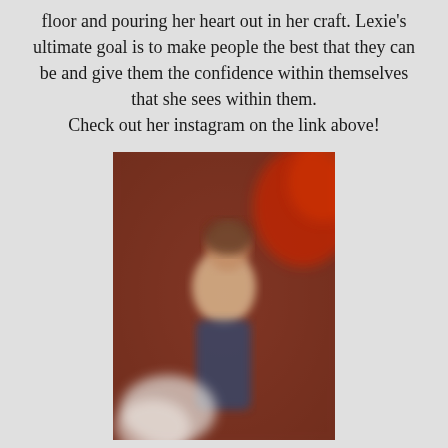floor and pouring her heart out in her craft. Lexie's ultimate goal is to make people the best that they can be and give them the confidence within themselves that she sees within them. Check out her instagram on the link above!
[Figure (photo): A blurred photo of a person standing against a reddish-brown wall, wearing a light top and dark jeans, with a red element visible in the upper right corner and a blurred white shape in the lower left.]